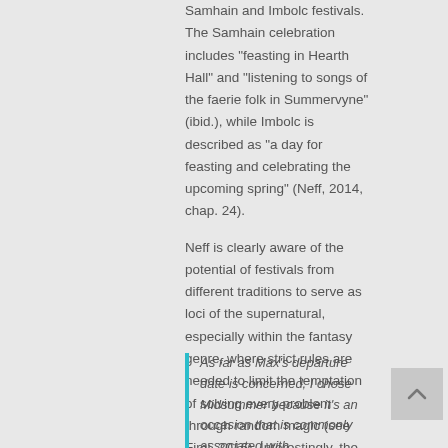Samhain and Imbolc festivals. The Samhain celebration includes "feasting in Hearth Hall" and "listening to songs of the faerie folk in Summervyne" (ibid.), while Imbolc is described as "a day for feasting and celebrating the upcoming spring" (Neff, 2014, chap. 24).
Neff is clearly aware of the potential of festivals from different traditions to serve as loci of the supernatural, especially within the fantasy genre, where strict rules are needed to limit the temptation of solving every problem through random magic (see Fimi, 2016). Interestingly, the one Irish festival not used in The Tapestry is Lughnasadh. When I interviewed Neff last year, I said that I had expected the final episode in Max's heroic journey to occur during Lughnasadh, rather than Midsummer. Neff explained:
As far as Max's departure date is concerned, I chose Midsummer because it's an occasion that is commonly associated with